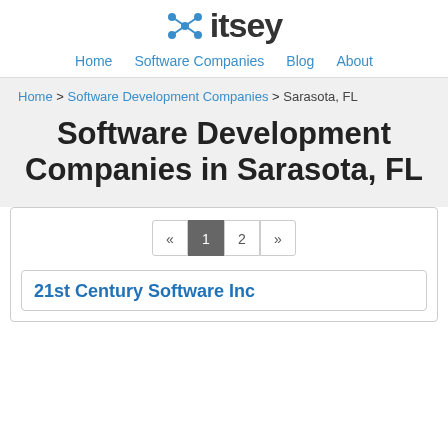itsey — Home | Software Companies | Blog | About
Home > Software Development Companies > Sarasota, FL
Software Development Companies in Sarasota, FL
Pagination: « 1 2 »
21st Century Software Inc